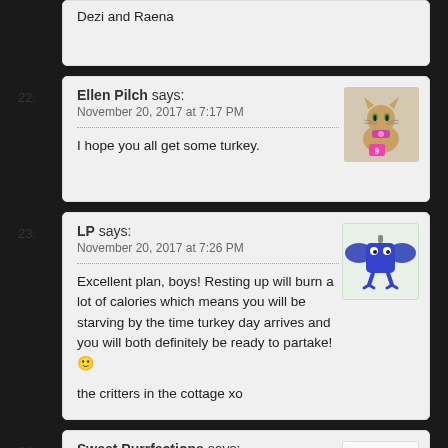Dezi and Raena
22. Ellen Pilch says: November 20, 2017 at 7:17 PM — I hope you all get some turkey.
23. LP says: November 20, 2017 at 7:26 PM — Excellent plan, boys! Resting up will burn a lot of calories which means you will be starving by the time turkey day arrives and you will both definitely be ready to partake! 🙂 the critters in the cottage xo
24. Sweet Purrfections says: November 20, 2017 at 7:57 PM